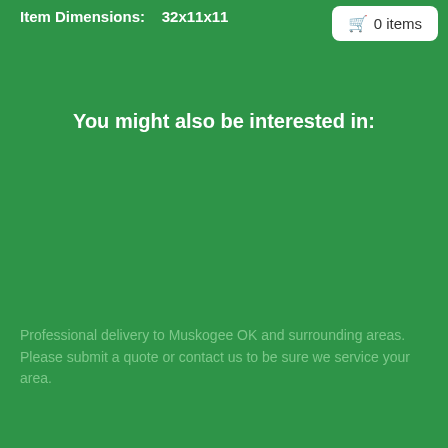Item Dimensions: 32x11x11
You might also be interested in:
Professional delivery to Muskogee OK and surrounding areas. Please submit a quote or contact us to be sure we service your area.